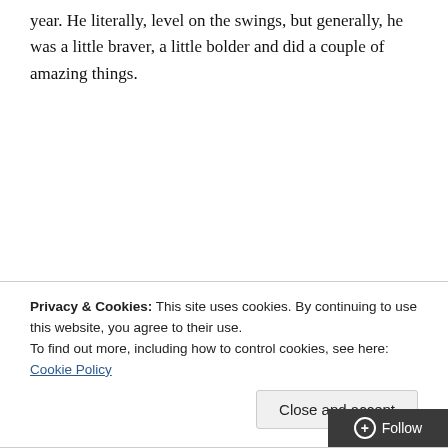year. He literally, level on the swings, but generally, he was a little braver, a little bolder and did a couple of amazing things.
Privacy & Cookies: This site uses cookies. By continuing to use this website, you agree to their use.
To find out more, including how to control cookies, see here: Cookie Policy
Close and accept
Follow